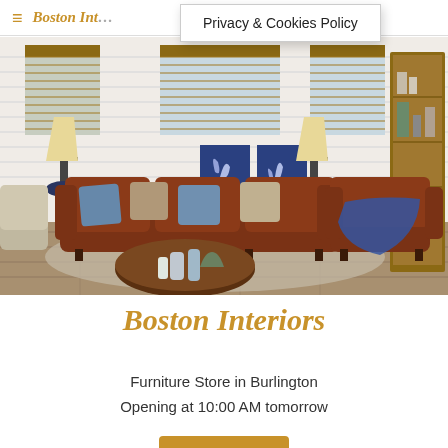Boston Interiors — Privacy & Cookies Policy
[Figure (photo): Interior furniture showroom photo featuring brown leather sofa and armchair with blue decorative pillows, round wooden coffee table with vases, table lamps, blue botanical framed art on white shiplap wall, wooden bookcase on right, bamboo blinds on windows]
Boston Interiors
Furniture Store in Burlington
Opening at 10:00 AM tomorrow